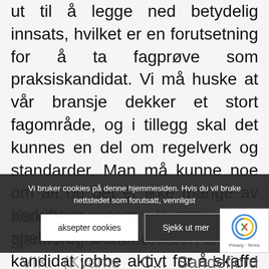ut til å legge ned betydelig innsats, hvilket er en forutsetning for å ta fagprøve som praksiskandidat. Vi må huske at vår bransje dekker et stort fagområde, og i tillegg skal det kunnes en del om regelverk og standarder. Man må kunne noe om alt og det er ikke mange av bedriftene som leverer hele spekteret. Derfor må den enkelte kandidat jobbe aktivt for å skaffe seg et bredt faglig grunnlag for å ta fagprøven, sier Graff.
Kandidatene som nå gjennomgår kurset et He... VIK. (Kvams... Sandefjord AS), Guro Nyland (Holvik C...
Vi bruker cookies på denne hjemmesiden. Hvis du vil bruke nettstedet som forutsatt, vennligst